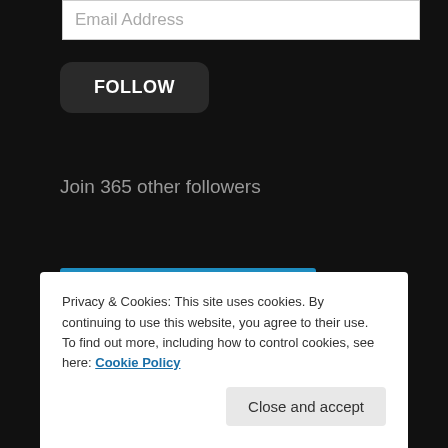Email Address
FOLLOW
Join 365 other followers
[Figure (other): WordPress Follow Jordy's Streamings button with WordPress logo]
Privacy & Cookies: This site uses cookies. By continuing to use this website, you agree to their use.
To find out more, including how to control cookies, see here: Cookie Policy
Close and accept